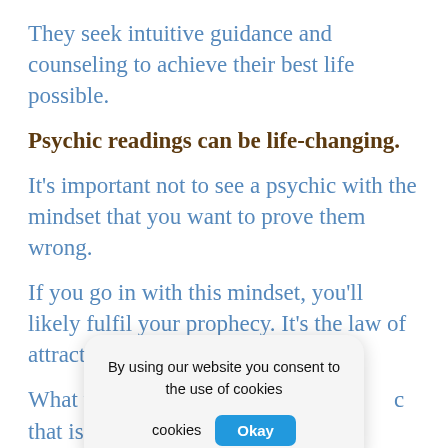They seek intuitive guidance and counseling to achieve their best life possible.
Psychic readings can be life-changing.
It's important not to see a psychic with the mindset that you want to prove them wrong.
If you go in with this mindset, you'll likely fulfil your prophecy. It's the law of attraction, after all.
What you [obscured by cookie banner] that is seasoned [obscured] reputation and good reviews. The best part is, you can
[Figure (other): Cookie consent popup overlay with text 'By using our website you consent to the use of cookies' and an 'Okay' button]